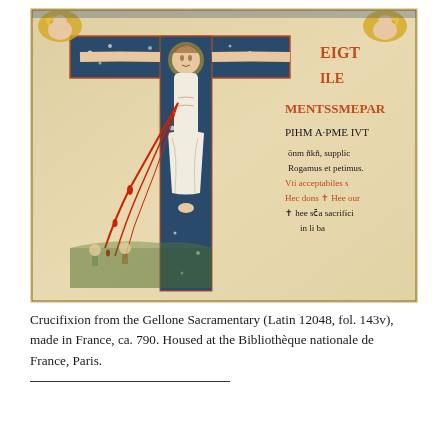[Figure (illustration): Illuminated manuscript page showing a Crucifixion scene from the Gellone Sacramentary (Latin 12048, fol. 143v). Christ is depicted on a decorated cross with blue starry background panels, flanked by angels at the top. Red drops of blood flow from Christ's side. Latin text in red and black appears to the right of the cross. The manuscript page has an aged, parchment-colored background.]
Crucifixion from the Gellone Sacramentary (Latin 12048, fol. 143v), made in France, ca. 790. Housed at the Bibliothèque nationale de France, Paris.